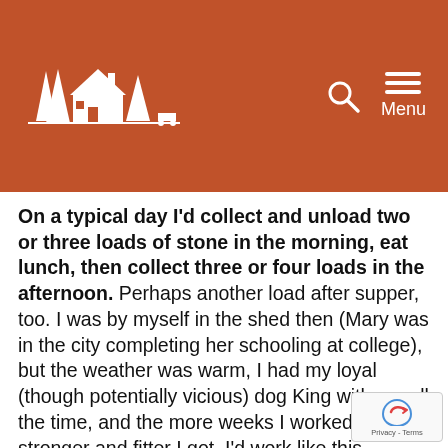[Figure (logo): White silhouette logo of a farmhouse with pine trees on a burnt orange/terracotta background header bar, with a search icon and hamburger menu labeled 'Menu' on the right]
On a typical day I'd collect and unload two or three loads of stone in the morning, eat lunch, then collect three or four loads in the afternoon. Perhaps another load after supper, too. I was by myself in the shed then (Mary was in the city completing her schooling at college), but the weather was warm, I had my loyal (though potentially vicious) dog King with me all the time, and the more weeks I worked the stronger and fitter I got. I'd work like this Monday through Friday, then spend Saturday doing other work around the building site, washing my clothes on a washboard in a wheelbarrow, working on the truck and tractor as necessary and perhaps making a trip into town for supplies. The week would finish with a bath I'd take in